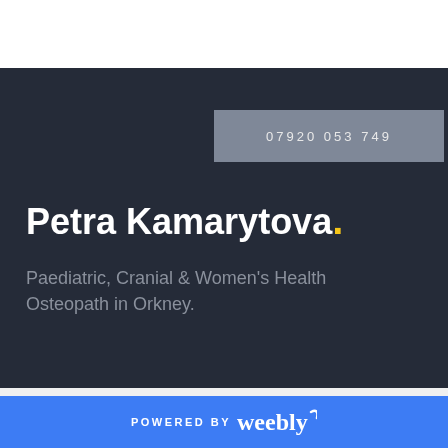07920 053 749
Petra Kamarytova.
Paediatric, Cranial & Women's Health Osteopath in Orkney.
POWERED BY weebly